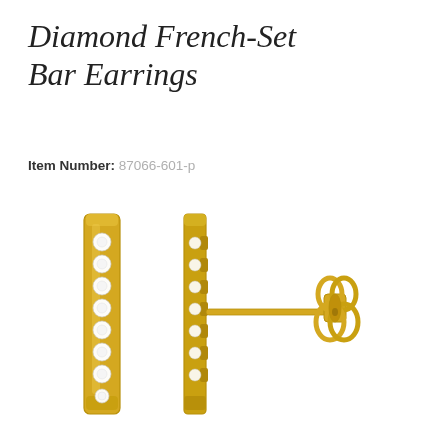Diamond French-Set Bar Earrings
Item Number: 87066-601-p
[Figure (photo): Two diamond french-set bar earrings in yellow gold shown from front and side view with butterfly back clasp visible]